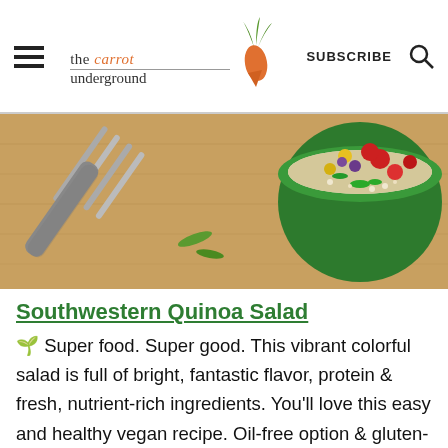the carrot underground | SUBSCRIBE
[Figure (photo): A fork on a wooden cutting board next to a green bowl filled with colorful quinoa salad including tomatoes, peppers, and vegetables]
Southwestern Quinoa Salad
🌱 Super food. Super good. This vibrant colorful salad is full of bright, fantastic flavor, protein & fresh, nutrient-rich ingredients. You'll love this easy and healthy vegan recipe. Oil-free option & gluten-free